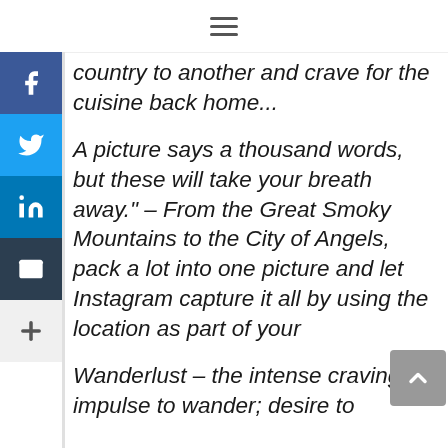≡
country to another and crave for the cuisine back home...
A picture says a thousand words, but these will take your breath away." – From the Great Smoky Mountains to the City of Angels, pack a lot into one picture and let Instagram capture it all by using the location as part of your
Wanderlust – the intense craving or impulse to wander; desire to